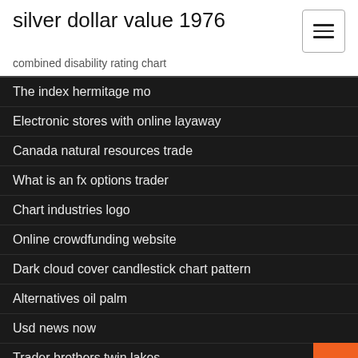silver dollar value 1976
combined disability rating chart
The index hermitage mo
Electronic stores with online layaway
Canada natural resources trade
What is an fx options trader
Chart industries logo
Online crowdfunding website
Dark cloud cover candlestick chart pattern
Alternatives oil palm
Usd news now
Trader brothers twin lakes